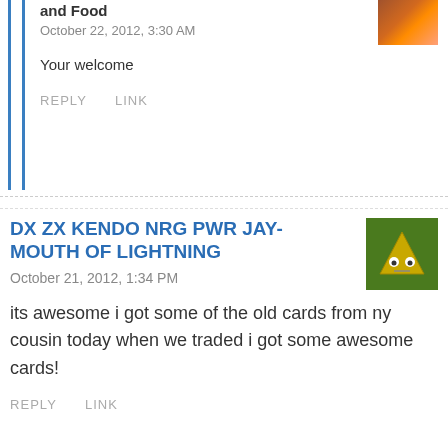and Food
October 22, 2012, 3:30 AM
Your welcome
REPLY   LINK
DX ZX KENDO NRG PWR JAY-MOUTH OF LIGHTNING
October 21, 2012, 1:34 PM
its awesome i got some of the old cards from ny cousin today when we traded i got some awesome cards!
REPLY   LINK